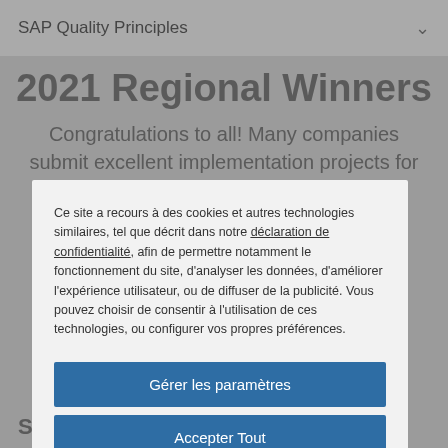SAP Quality Principles
2021 Regional Winners
Congratulations to all! Many companies submit excellent implementation projects for
Ce site a recours à des cookies et autres technologies similaires, tel que décrit dans notre déclaration de confidentialité, afin de permettre notamment le fonctionnement du site, d'analyser les données, d'améliorer l'expérience utilisateur, ou de diffuser de la publicité. Vous pouvez choisir de consentir à l'utilisation de ces technologies, ou configurer vos propres préférences.
Gérer les paramètres
Accepter Tout
Tout rejeter
Utilisation de cookies
SOL FX